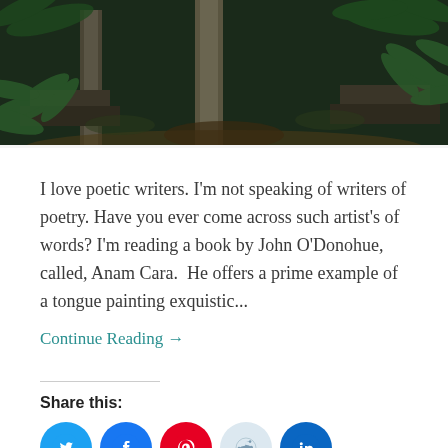[Figure (photo): Forest scene with mossy rocks, stone ruins or pillars, and fern plants in a dark green jungle setting]
I love poetic writers. I'm not speaking of writers of poetry. Have you ever come across such artist's of words? I'm reading a book by John O'Donohue, called, Anam Cara.  He offers a prime example of a tongue painting exquistic...
Continue Reading →
Share this:
[Figure (other): Social share icons: Twitter (blue), Facebook (blue), Pinterest (red), Reddit (light blue/grey), LinkedIn (dark blue)]
Loading...